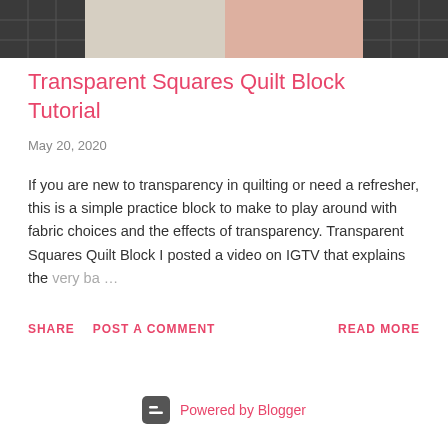[Figure (photo): Quilt fabric header image showing gray, beige/linen, blush pink, and dark charcoal fabric swatches arranged in a grid pattern]
Transparent Squares Quilt Block Tutorial
May 20, 2020
If you are new to transparency in quilting or need a refresher, this is a simple practice block to make to play around with fabric choices and the effects of transparency. Transparent Squares Quilt Block I posted a video on IGTV that explains the very ba…
SHARE  POST A COMMENT  READ MORE
Powered by Blogger